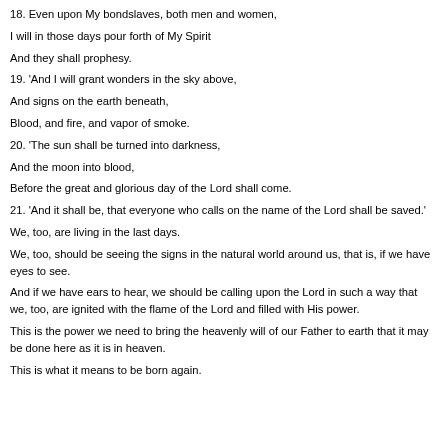18. Even upon My bondslaves, both men and women,
I will in those days pour forth of My Spirit
And they shall prophesy.
19. 'And I will grant wonders in the sky above,
And signs on the earth beneath,
Blood, and fire, and vapor of smoke.
20. 'The sun shall be turned into darkness,
And the moon into blood,
Before the great and glorious day of the Lord shall come.
21. 'And it shall be, that everyone who calls on the name of the Lord shall be saved.'
We, too, are living in the last days.
We, too, should be seeing the signs in the natural world around us, that is, if we have eyes to see.
And if we have ears to hear, we should be calling upon the Lord in such a way that we, too, are ignited with the flame of the Lord and filled with His power.
This is the power we need to bring the heavenly will of our Father to earth that it may be done here as it is in heaven.
This is what it means to be born again.